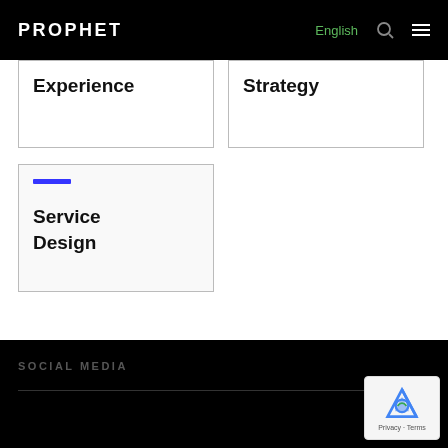PROPHET | English | Search | Menu
Experience
Strategy
Service Design
SOCIAL MEDIA